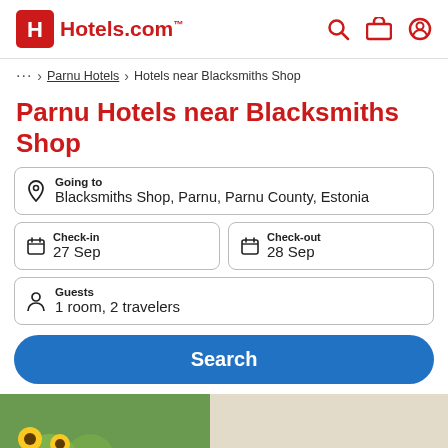[Figure (logo): Hotels.com logo with red H icon and Hotels.com text, plus search, briefcase, and user icons on the right]
… > Parnu Hotels > Hotels near Blacksmiths Shop
Parnu Hotels near Blacksmiths Shop
Going to
Blacksmiths Shop, Parnu, Parnu County, Estonia
Check-in
27 Sep
Check-out
28 Sep
Guests
1 room, 2 travelers
Search
[Figure (photo): Partial photo strip showing a green outdoor scene with sunflowers on the left and a beige interior wall on the right]